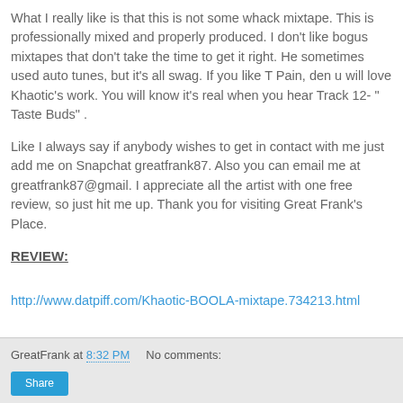What I really like is that this is not some whack mixtape. This is professionally mixed and properly produced. I don't like bogus mixtapes that don't take the time to get it right. He sometimes used auto tunes, but it's all swag. If you like T Pain, den u will love Khaotic's work. You will know it's real when you hear Track 12- " Taste Buds" .
Like I always say if anybody wishes to get in contact with me just add me on Snapchat greatfrank87. Also you can email me at greatfrank87@gmail. I appreciate all the artist with one free review, so just hit me up. Thank you for visiting Great Frank's Place.
REVIEW:
http://www.datpiff.com/Khaotic-BOOLA-mixtape.734213.html
GreatFrank at 8:32 PM    No comments: